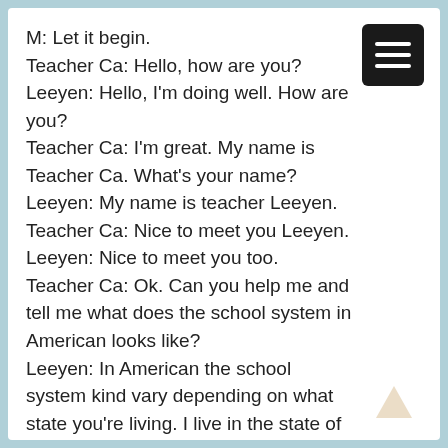M: Let it begin.
Teacher Ca: Hello, how are you?
Leeyen: Hello, I'm doing well. How are you?
Teacher Ca: I'm great. My name is Teacher Ca. What's your name?
Leeyen: My name is teacher Leeyen.
Teacher Ca: Nice to meet you Leeyen.
Leeyen: Nice to meet you too.
Teacher Ca: Ok. Can you help me and tell me what does the school system in American looks like?
Leeyen: In American the school system kind vary depending on what state you're living. I live in the state of Missouri. So in the midwest. The way my school system is set up is our school runs, we have elementary school, and we have a middle school and then we have a high school.
Our elementary students starts coming to us when